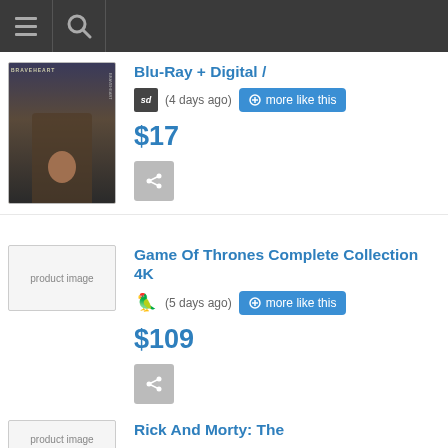Navigation bar with menu and search icons
[Figure (photo): Braveheart movie Blu-Ray product image showing warrior with blue face paint]
Blu-Ray + Digital /
(4 days ago)
$17
[Figure (other): Product image placeholder for Game Of Thrones]
Game Of Thrones Complete Collection 4K
(5 days ago)
$109
[Figure (other): Product image placeholder for Rick And Morty]
Rick And Morty: The